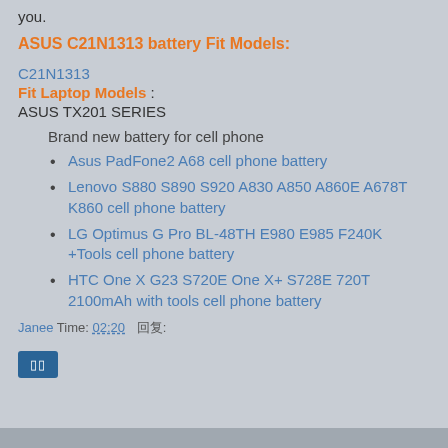you.
ASUS C21N1313 battery Fit Models:
C21N1313
Fit Laptop Models : ASUS TX201 SERIES
Brand new battery for cell phone
Asus PadFone2 A68 cell phone battery
Lenovo S880 S890 S920 A830 A850 A860E A678T K860 cell phone battery
LG Optimus G Pro BL-48TH E980 E985 F240K +Tools cell phone battery
HTC One X G23 S720E One X+ S728E 720T 2100mAh with tools cell phone battery
Janee Time: 02:20 回复:
[Figure (other): Blue button with icon]